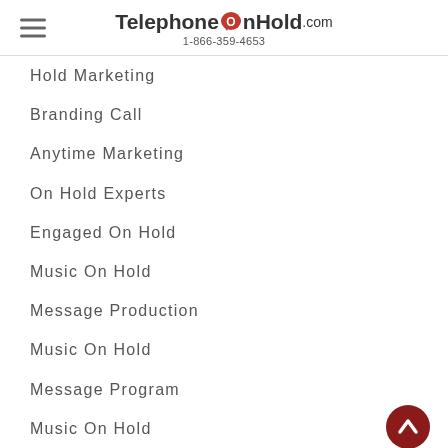TelephoneOnHold.com 1-866-359-4653
Hold Marketing
Branding Call
Anytime Marketing
On Hold Experts
Engaged On Hold
Music On Hold
Message Production
Music On Hold
Message Program
Music On Hold
Messages
Music On Hold
Messaging...